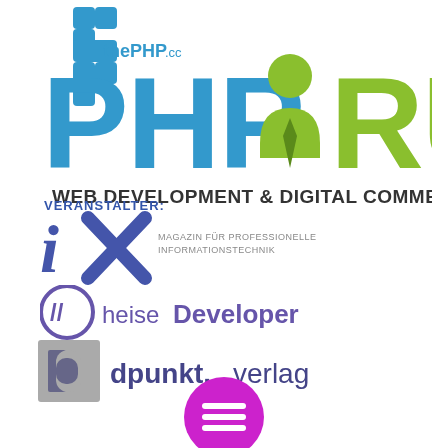[Figure (logo): thePHP.cc logo with blue cross/plus shapes and text 'thePHP.cc']
[Figure (logo): PHP RUHR logo - 'PHP' in blue large text, person icon in green, 'RUHR' in green large text, subtitle 'WEB DEVELOPMENT & DIGITAL COMMERCE' in dark gray]
VERANSTALTER:
[Figure (logo): iX Magazin logo - italic stylized 'iX' in blue/violet with text 'MAGAZIN FÜR PROFESSIONELLE INFORMATIONSTECHNIK']
[Figure (logo): heise Developer logo - circle with double slash icon and text 'heise Developer']
[Figure (logo): dpunkt.verlag logo - gray square icon with 'd' shape and text 'dpunkt.verlag']
[Figure (other): Magenta/purple circular menu button with three horizontal white lines (hamburger menu icon)]